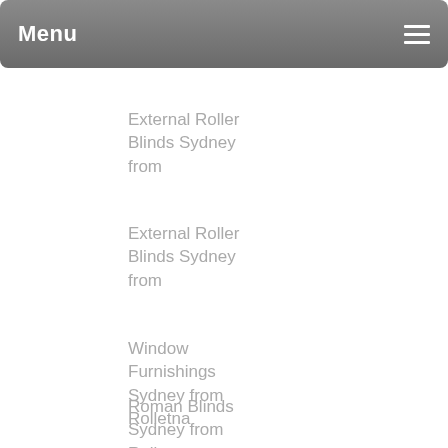Menu
External Roller Blinds Sydney from
External Roller Blinds Sydney from
Window Furnishings Sydney from Rolletna
Roman Blinds Sydney from Rolletna